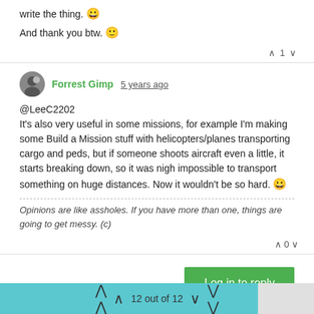write the thing. 😀
And thank you btw. 🙂
^ 1 v
Forrest Gimp 5 years ago
@LeeC2202
It's also very useful in some missions, for example I'm making some Build a Mission stuff with helicopters/planes transporting cargo and peds, but if someone shoots aircraft even a little, it starts breaking down, so it was nigh impossible to transport something on huge distances. Now it wouldn't be so hard. 😀
Opinions are like assholes. If you have more than one, things are going to get messy. (c)
^ 0 v
Log in to reply
12 out of 12